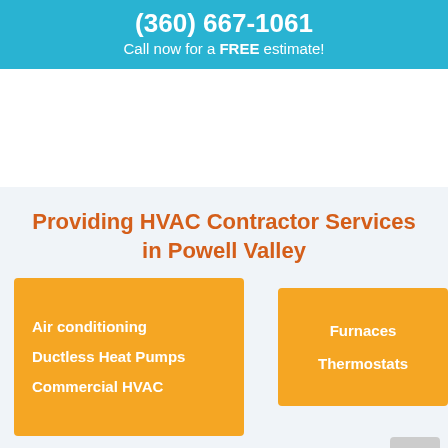(360) 667-1061
Call now for a FREE estimate!
Providing HVAC Contractor Services in Powell Valley
Air conditioning
Ductless Heat Pumps
Commercial HVAC
Furnaces
Thermostats